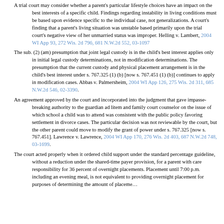A trial court may consider whether a parent's particular lifestyle choices have an impact on the best interests of a specific child. Findings regarding instability in living conditions must be based upon evidence specific to the individual case, not generalizations. A court's finding that a parent's living situation was unstable based primarily upon the trial court's negative view of her unmarried status was improper. Helling v. Lambert, 2004 WI App 93, 272 Wis. 2d 796, 681 N.W.2d 552, 03-1097
The sub. (2) (am) presumption that joint legal custody is in the child's best interest applies only in initial legal custody determinations, not in modification determinations. The presumption that the current custody and physical placement arrangement is in the child's best interest under s. 767.325 (1) (b) [now s. 767.451 (1) (b)] continues to apply in modification cases. Abbas v. Palmersheim, 2004 WI App 126, 275 Wis. 2d 311, 685 N.W.2d 546, 02-3390.
An agreement approved by the court and incorporated into the judgment that gave impasse-breaking authority to the guardian ad litem and family court counselor on the issue of which school a child was to attend was consistent with the public policy favoring settlement in divorce cases. The particular decision was not reviewable by the court, but the other parent could move to modify the grant of power under s. 767.325 [now s. 767.451]. Lawrence v. Lawrence, 2004 WI App 170, 276 Wis. 2d 403, 687 N.W.2d 748, 03-1699.
The court acted properly when it ordered child support under the standard percentage guideline, without a reduction under the shared-time payer provision, for a parent with care responsibility for 36 percent of overnight placements. Placement until 7:00 p.m. including an evening meal, is not equivalent to providing overnight placement for purposes of determining the amount of placement...